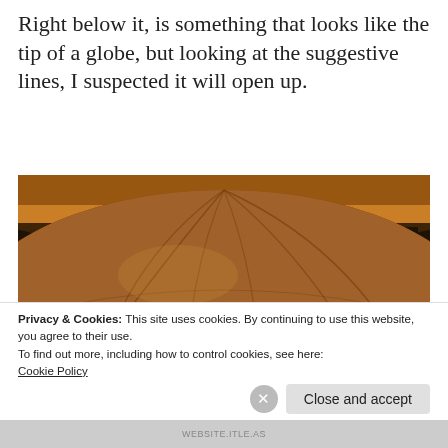Right below it, is something that looks like the tip of a globe, but looking at the suggestive lines, I suspected it will open up.
[Figure (photo): Interior of a grand casino or hotel rotunda showing a large ornate globe or circular decorative floor piece in the foreground, with visitors standing along a curved railing in the background, flanked by illuminated shop fronts and warm golden lighting.]
Privacy & Cookies: This site uses cookies. By continuing to use this website, you agree to their use.
To find out more, including how to control cookies, see here:
Cookie Policy
Close and accept